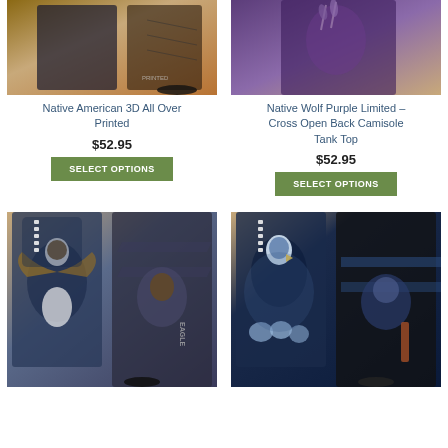[Figure (photo): Product photo of Native American 3D All Over Printed leggings set, woman wearing printed activewear, desert background]
Native American 3D All Over Printed
$52.95
SELECT OPTIONS
[Figure (photo): Product photo of Native Wolf Purple Limited Cross Open Back Camisole Tank Top, woman wearing purple wolf print top, feathers]
Native Wolf Purple Limited – Cross Open Back Camisole Tank Top
$52.95
SELECT OPTIONS
[Figure (photo): Product photo of eagle print activewear set, tank top and leggings with eagle design, woman model, desert background]
[Figure (photo): Product photo of wolf and eagle print activewear set, tank top and leggings with wolf/eagle design, woman model, desert background]